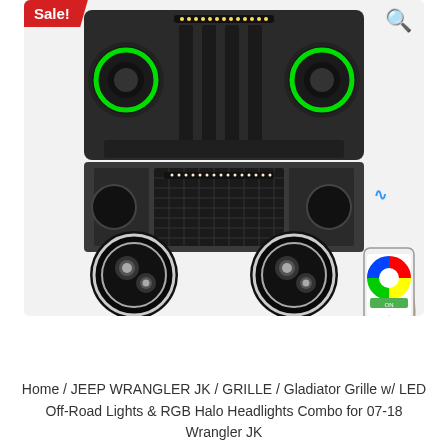[Figure (photo): Product photo of a Jeep Wrangler JK Gladiator Grille with LED Off-Road Lights and RGB Halo Headlights combo. Shows the front grille assembly with green halo rings on headlights (top image), the standalone black Gladiator grille with LED light bar (middle), two round LED headlights with white halo rings (bottom left), and a hand holding a smartphone with color control app (bottom right). A Sale! badge appears in top-left corner and a search magnifying glass icon in top-right corner.]
Home / JEEP WRANGLER JK / GRILLE / Gladiator Grille w/ LED Off-Road Lights & RGB Halo Headlights Combo for 07-18 Wrangler JK